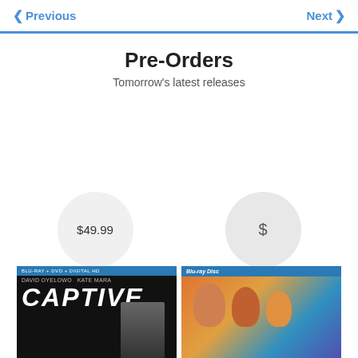< Previous    Next >
Pre-Orders
Tomorrow's latest releases
$49.99
Archer: The Complete Season Seven
$
Croods & Turbo 3D Blu-ray Bundle
[Figure (photo): Captive movie Blu-ray cover]
[Figure (photo): Croods & Turbo 3D Blu-ray Bundle cover]